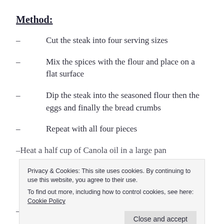Method:
Cut the steak into four serving sizes
Mix the spices with the flour and place on a flat surface
Dip the steak into the seasoned flour then the eggs and finally the bread crumbs
Repeat with all four pieces
Heat a half cup of Canola oil in a large pan
Privacy & Cookies: This site uses cookies. By continuing to use this website, you agree to their use.
To find out more, including how to control cookies, see here: Cookie Policy
Remove from the oil and drain on some paper